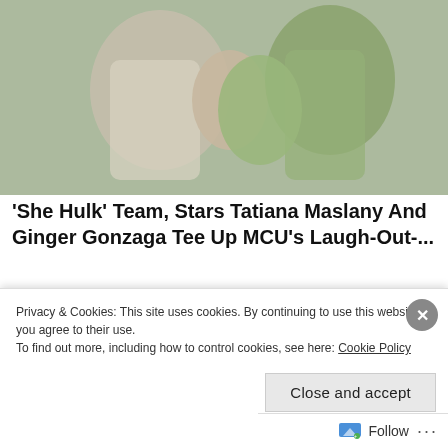[Figure (photo): Two people facing each other with hands raised in a pushing gesture, one appears to have green-tinted skin (She-Hulk character), outdoors with foliage background]
'She Hulk' Team, Stars Tatiana Maslany And Ginger Gonzaga Tee Up MCU's Laugh-Out-...
Shadow and Act
[Figure (photo): Thumbnail image of a person near a car, associated with auto loan article]
Search for Refinance Auto Loan Companies and Rates
Privacy & Cookies: This site uses cookies. By continuing to use this website, you agree to their use.
To find out more, including how to control cookies, see here: Cookie Policy
Close and accept
Follow